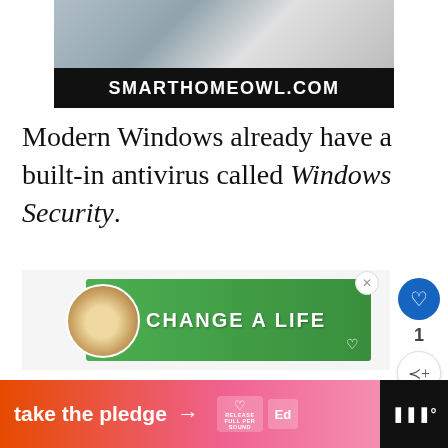[Figure (screenshot): Top banner showing a photo of a desk/laptop and a black bar with white bold text reading SMARTHOMEOWL.COM]
Modern Windows already have a built-in antivirus called Windows Security.
[Figure (infographic): Green advertisement banner with a dog image on the left and bold white text reading CHANGE A LIFE with a heart icon]
[Figure (infographic): What's Next panel with thumbnail image and text: 9 Ways To Fix A Green...]
[Figure (infographic): Bottom black and gradient orange-pink bar with text: take the pledge → with Release and Ed logos on right side]